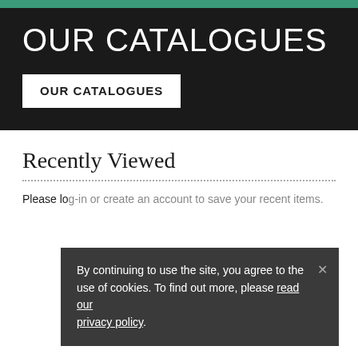OUR CATALOGUES
OUR CATALOGUES
Recently Viewed
Please lo...
By continuing to use the site, you agree to the use of cookies. To find out more, please read our privacy policy.